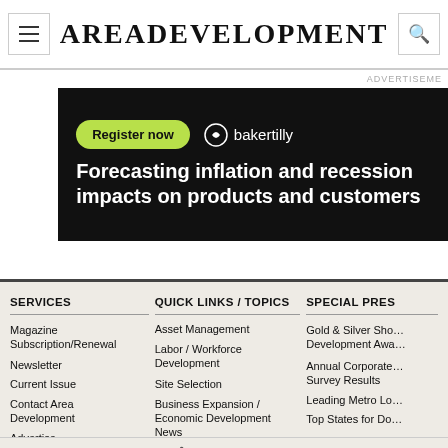AreaDevelopment
[Figure (screenshot): Advertisement banner for Baker Tilly with 'Register now' button and text 'Forecasting inflation and recession impacts on products and customers']
ADVERTISEMENT
SERVICES
Magazine Subscription/Renewal
Newsletter
Current Issue
Contact Area Development
Advertise
QUICK LINKS / TOPICS
Asset Management
Labor / Workforce Development
Site Selection
Business Expansion / Economic Development News
SPECIAL PRES…
Gold & Silver Sho… Development Awa…
Annual Corporate… Survey Results
Leading Metro Lo…
Top States for Do…
Newsletter